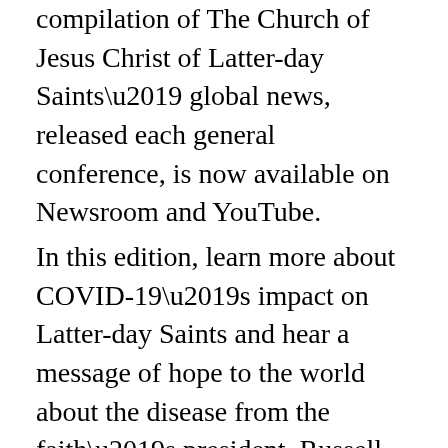compilation of The Church of Jesus Christ of Latter-day Saints’ global news, released each general conference, is now available on Newsroom and YouTube.
In this edition, learn more about COVID-19’s impact on Latter-day Saints and hear a message of hope to the world about the disease from the faith’s president, Russell M. Nelson. See which countries President Nelson traveled to as part of his heartwarming ministry to members and friends of the